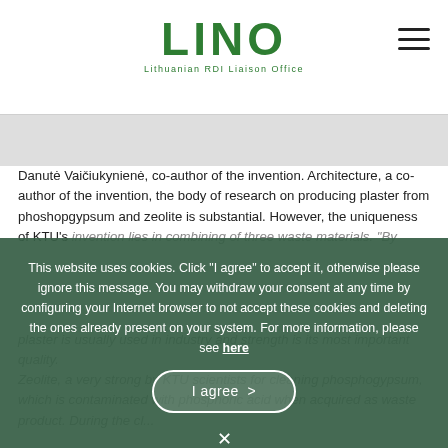LINO — Lithuanian RDI Liaison Office
Danutė Vaičiukynienė, co-author of the invention. Architecture, a co-author of the invention, the body of research on producing plaster from phoshopgypsum and zeolite is substantial. However, the uniqueness of KTU's invention lies in combining of three waste materials. "By combining these three materials, we obtain a product with new properties," says doc. dr. Danutė Vaičiukynienė, co-author of the invention.
plaster is usually used in the industry and strength is its most important quality.
Zeolite, a very strong absorbent, was used by KTU scientists for cleaning phosphogypsum, which is contaminated with phosphoric acid when acquired as waste product. During the cl...
This website uses cookies. Click "I agree" to accept it, otherwise please ignore this message. You may withdraw your consent at any time by configuring your Internet browser to not accept these cookies and deleting the ones already present on your system. For more information, please see here
I agree  >